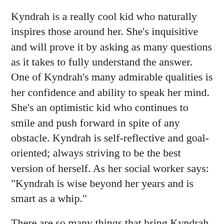Kyndrah is a really cool kid who naturally inspires those around her. She’s inquisitive and will prove it by asking as many questions as it takes to fully understand the answer. One of Kyndrah’s many admirable qualities is her confidence and ability to speak her mind. She’s an optimistic kid who continues to smile and push forward in spite of any obstacle. Kyndrah is self-reflective and goal-oriented; always striving to be the best version of herself. As her social worker says: "Kyndrah is wise beyond her years and is smart as a whip."
There are so many things that bring Kyndrah joy, though maybe nothing more than hanging out with “her people.” Shopping (including window shopping), playing Roblox, and listening to music are just a few of the things Kyndrah enjoys doing most.